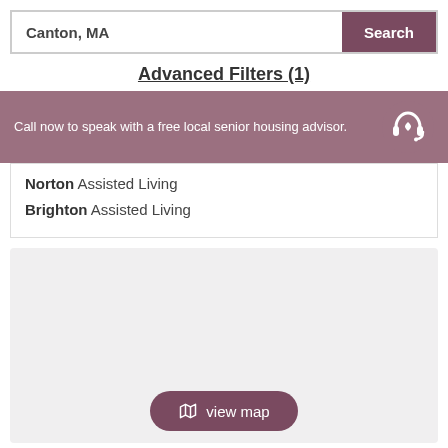Canton, MA
Search
Advanced Filters (1)
Call now to speak with a free local senior housing advisor.
Norton Assisted Living
Brighton Assisted Living
[Figure (other): Map placeholder area with light gray background]
view map
9. Evans Park at Newton Corner